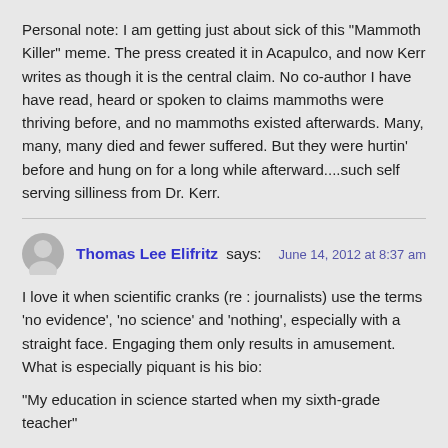Personal note: I am getting just about sick of this “Mammoth Killer” meme. The press created it in Acapulco, and now Kerr writes as though it is the central claim. No co-author I have have read, heard or spoken to claims mammoths were thriving before, and no mammoths existed afterwards. Many, many, many died and fewer suffered. But they were hurtin’ before and hung on for a long while afterward....such self serving silliness from Dr. Kerr.
Thomas Lee Elifritz says:
June 14, 2012 at 8:37 am
I love it when scientific cranks (re : journalists) use the terms ‘no evidence’, ‘no science’ and ‘nothing’, especially with a straight face. Engaging them only results in amusement. What is especially piquant is his bio:
“My education in science started when my sixth-grade teacher”
Kinda late to get into science, dontcha think?